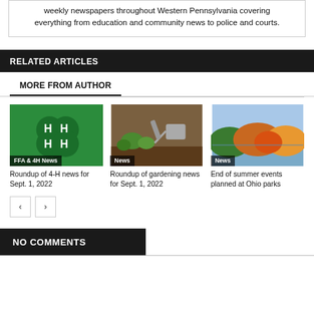weekly newspapers throughout Western Pennsylvania covering everything from education and community news to police and courts.
RELATED ARTICLES
MORE FROM AUTHOR
[Figure (photo): 4-H clover logo on green background]
FFA & 4H News
Roundup of 4-H news for Sept. 1, 2022
[Figure (photo): Gardening tools and seedlings on soil]
News
Roundup of gardening news for Sept. 1, 2022
[Figure (photo): Forested hills with fall foliage reflecting in a lake]
News
End of summer events planned at Ohio parks
NO COMMENTS